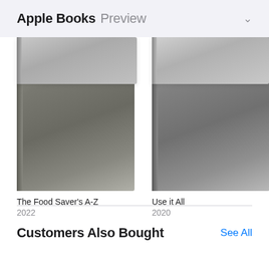Apple Books Preview
[Figure (photo): Book cover for The Food Saver's A-Z, gray gradient design]
The Food Saver's A-Z
2022
[Figure (photo): Book cover for Use it All, gray gradient design]
Use it All
2020
[Figure (photo): Partially visible book cover, gray gradient design, year 201x]
Co...
Pic...
201...
Customers Also Bought
[Figure (photo): Bottom row book covers partially visible]
[Figure (photo): Bottom row book covers partially visible]
[Figure (photo): Bottom row book covers partially visible]